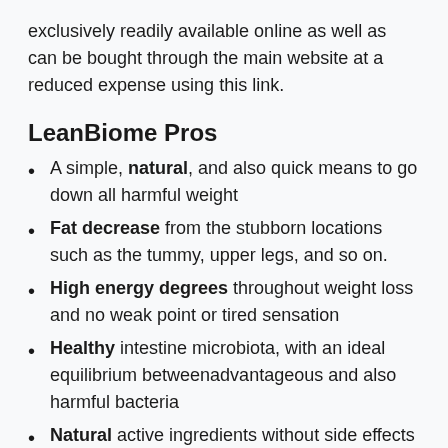exclusively readily available online as well as can be bought through the main website at a reduced expense using this link.
LeanBiome Pros
A simple, natural, and also quick means to go down all harmful weight
Fat decrease from the stubborn locations such as the tummy, upper legs, and so on.
High energy degrees throughout weight loss and no weak point or tired sensation
Healthy intestine microbiota, with an ideal equilibrium between advantageous and also harmful bacteria
Natural active ingredients without side effects